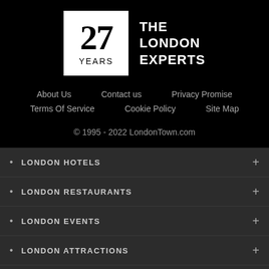[Figure (logo): 27 YEARS / THE LONDON EXPERTS logo: white box with large bold 27 and YEARS text, next to white text THE LONDON EXPERTS on black background]
About Us
Contact us
Privacy Promise
Terms Of Service
Cookie Policy
Site Map
© 1995 - 2022 LondonTown.com
LONDON HOTELS
LONDON RESTAURANTS
LONDON EVENTS
LONDON ATTRACTIONS
LONDON SHOPPING